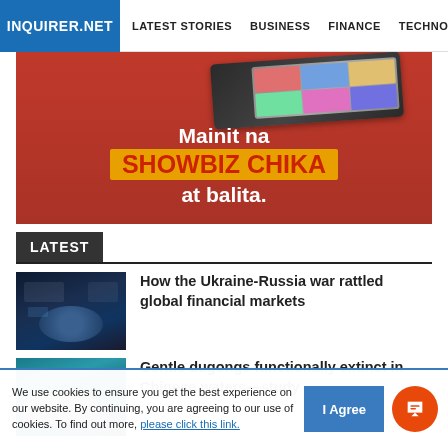INQUIRER.NET | LATEST STORIES | BUSINESS | FINANCE | TECHNOLO
[Figure (illustration): Advertisement banner for Inquirer.net showing a laptop/phone device and text 'Mainit na SHOWBIZ CHIKA at balita.' on a red background with yellow highlight]
LATEST
[Figure (photo): Stock exchange trading floor with people at screens and circular trading pit, dark blue tones]
How the Ukraine-Russia war rattled global financial markets
[Figure (photo): A dugong swimming underwater in teal/blue waters]
Gentle dugongs functionally extinct in Chinese waters—study
We use cookies to ensure you get the best experience on our website. By continuing, you are agreeing to our use of cookies. To find out more, please click this link.